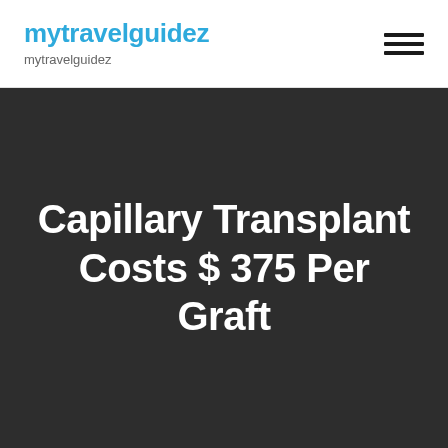mytravelguidez
mytravelguidez
Capillary Transplant Costs $ 375 Per Graft